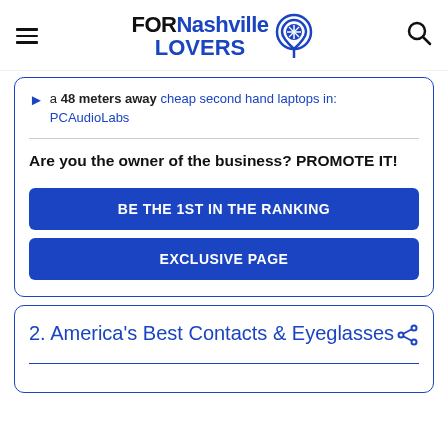FORNashville LOVERS
a 48 meters away cheap second hand laptops in: PCAudioLabs
Are you the owner of the business? PROMOTE IT!
BE THE 1ST IN THE RANKING
EXCLUSIVE PAGE
2. America's Best Contacts & Eyeglasses